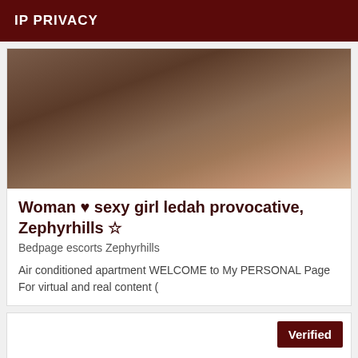IP PRIVACY
[Figure (photo): Partial view of a person in a bathroom setting with a red object visible]
Woman ♥ sexy girl ledah provocative, Zephyrhills ☆
Bedpage escorts Zephyrhills
Air conditioned apartment WELCOME to My PERSONAL Page For virtual and real content (
Verified